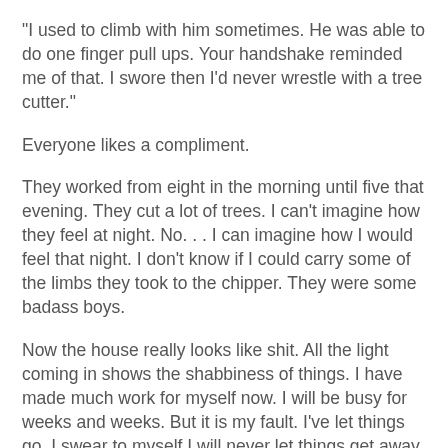"I used to climb with him sometimes.  He was able to do one finger pull ups.  Your handshake reminded me of that.  I swore then I'd never wrestle with a tree cutter."
Everyone likes a compliment.
They worked from eight in the morning until five that evening.  They cut a lot of trees.  I can't imagine how they feel at night.  No. . . I can imagine how I would feel that night.  I don't know if I could carry some of the limbs they took to the chipper.  They were some badass boys.
Now the house really looks like shit.  All the light coming in shows the shabbiness of things.  I have made much work for myself now.  I will be busy for weeks and weeks.  But it is my fault.  I've let things go.  I swear to myself I will never let things get away from me like this again.
This year has been a financial killer, though, from redoing the bathroom wall and fixtures to re-plumbing the house.  Now the trees and the pressure washing and the new deck and the painting and landscaping.  Some people go to Paris and